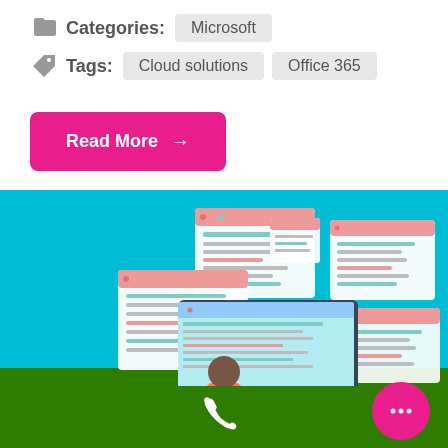Categories: Microsoft
Tags: Cloud solutions   Office 365
Read More →
[Figure (illustration): Illustration of a person sitting at a desk with a computer monitor, surrounded by multiple floating browser/code windows on a teal background with a green ground strip]
[Figure (illustration): Green footer bar with a white phone icon in the center and a pink chat bubble icon on the right]